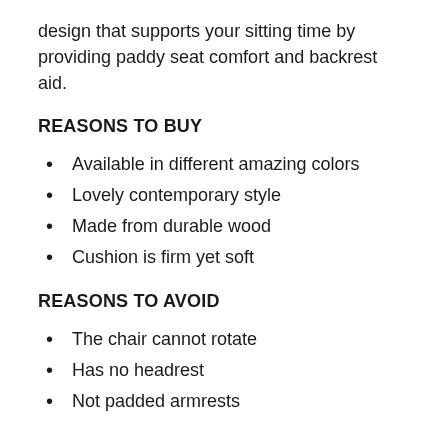design that supports your sitting time by providing paddy seat comfort and backrest aid.
REASONS TO BUY
Available in different amazing colors
Lovely contemporary style
Made from durable wood
Cushion is firm yet soft
REASONS TO AVOID
The chair cannot rotate
Has no headrest
Not padded armrests